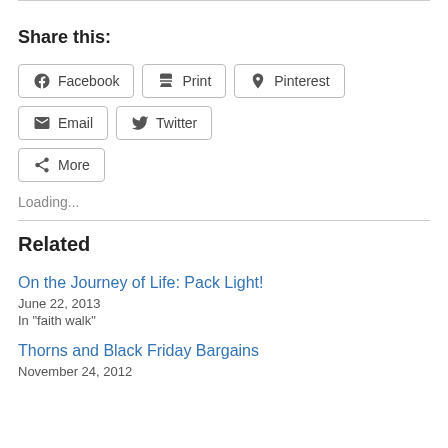Share this:
Facebook | Print | Pinterest | Email | Twitter | More
Loading...
Related
On the Journey of Life: Pack Light!
June 22, 2013
In "faith walk"
Thorns and Black Friday Bargains
November 24, 2012